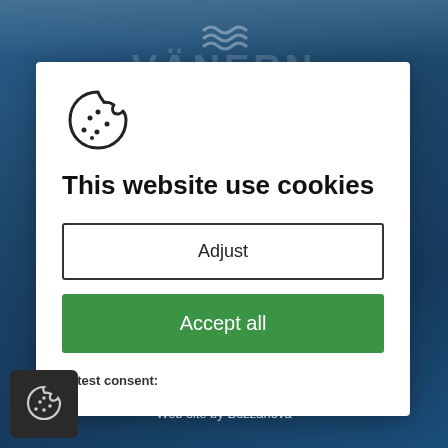[Figure (screenshot): Dark blue website background with partial logo text and wave icon]
[Figure (illustration): Cookie consent modal dialog with cookie icon, title, Adjust button, Accept all button, and Latest consent label]
This website use cookies
Adjust
Accept all
Latest consent:
© 2019 Vanersamarbetet
Web site by Bozzanova